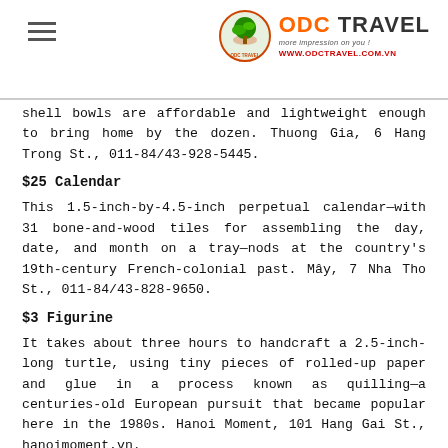ODC TRAVEL | www.odctravel.com.vn
shell bowls are affordable and lightweight enough to bring home by the dozen. Thuong Gia, 6 Hang Trong St., 011-84/43-928-5445.
$25 Calendar
This 1.5-inch-by-4.5-inch perpetual calendar—with 31 bone-and-wood tiles for assembling the day, date, and month on a tray—nods at the country's 19th-century French-colonial past. Mây, 7 Nha Tho St., 011-84/43-828-9650.
$3 Figurine
It takes about three hours to handcraft a 2.5-inch-long turtle, using tiny pieces of rolled-up paper and glue in a process known as quilling—a centuries-old European pursuit that became popular here in the 1980s. Hanoi Moment, 101 Hang Gai St., hanoimoment.vn.